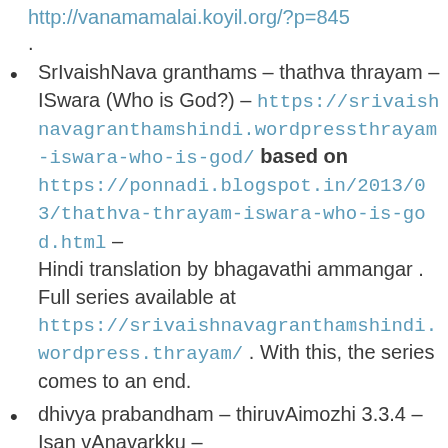http://vanamamalai.koyil.org/?p=845
.
SrIvaishNava granthams – thathva thrayam – ISwara (Who is God?) – https://srivaishnavagranthamshindi.wordpress... thrayam-iswara-who-is-god/ based on https://ponnadi.blogspot.in/2013/03/thathva-thrayam-iswara-who-is-god.html – Hindi translation by bhagavathi ammangar . Full series available at https://srivaishnavagranthamshindi.wordpress... thrayam/ . With this, the series comes to an end.
dhivya prabandham – thiruvAimozhi 3.3.4 – Isan vAnavarkku – http://divyaprabandham.koyil.org/index.php/2... 3-3-4-isan-vanavarkku/ – English